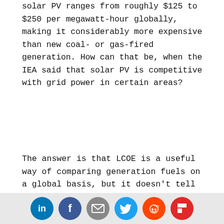solar PV ranges from roughly $125 to $250 per megawatt-hour globally, making it considerably more expensive than new coal- or gas-fired generation. How can that be, when the IEA said that solar PV is competitive with grid power in certain areas?
The answer is that LCOE is a useful way of comparing generation fuels on a global basis, but it doesn't tell you much about the actual cost of generation from a specific wind or solar farm, where the price of the energy generated is established under a long-term power purchase agreement (PPA).
Richard Caperton, an energy analyst with the Center for American Progress, offered his perspective on LCOE vs. PPA prices.
[Figure (other): Social media sharing icons row: LinkedIn (blue), Facebook (dark blue), Email (gray), Twitter (light blue), Reddit (orange), Flipboard (red)]